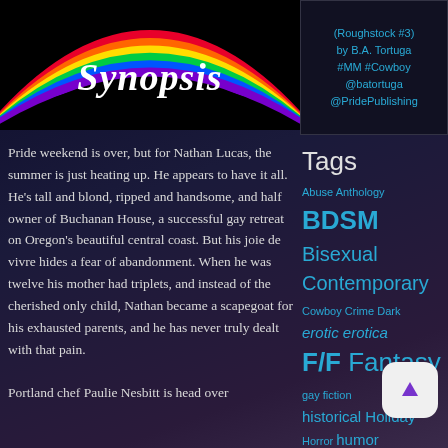[Figure (illustration): Rainbow arc over black background with 'Synopsis' written in white italic script font]
(Roughstock #3) by B.A. Tortuga #MM #Cowboy @batortuga @PridePublishing
Tags
Pride weekend is over, but for Nathan Lucas, the summer is just heating up. He appears to have it all. He’s tall and blond, ripped and handsome, and half owner of Buchanan House, a successful gay retreat on Oregon’s beautiful central coast. But his joie de vivre hides a fear of abandonment. When he was twelve his mother had triplets, and instead of the cherished only child, Nathan became a scapegoat for his exhausted parents, and he has never truly dealt with that pain.

Portland chef Paulie Nesbitt is head over
Abuse Anthology BDSM Bisexual Contemporary Cowboy Crime Dark erotic erotica F/F Fantasy gay fiction historical Holiday Horror humor Lesbian lesfic M/F/M M/M M/M/M Romance Menage Military